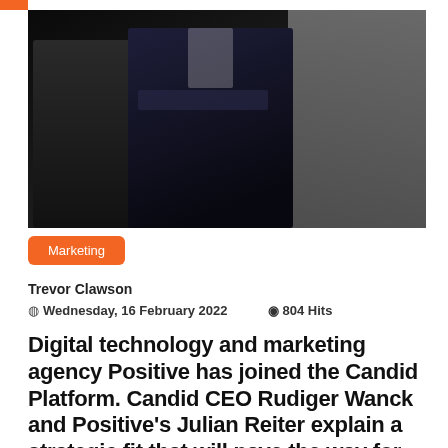[Figure (photo): Two men in dark suits standing together against a dark background, one with arms crossed]
Marketing
Trevor Clawson
Wednesday, 16 February 2022   804 Hits
Digital technology and marketing agency Positive has joined the Candid Platform. Candid CEO Rudiger Wanck and Positive's Julian Reiter explain a strategic fit that will pave the way for